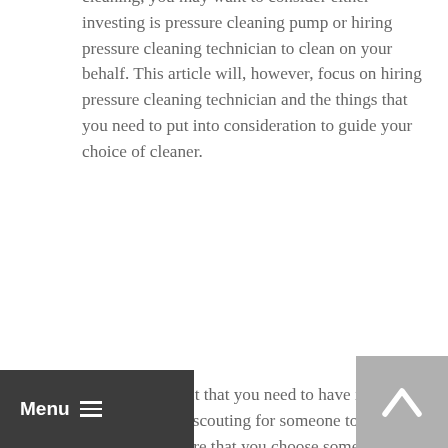cleaning, you may want to consider either investing is pressure cleaning pump or hiring pressure cleaning technician to clean on your behalf. This article will, however, focus on hiring pressure cleaning technician and the things that you need to put into consideration to guide your choice of cleaner.
The first element that you need to have in mind when you are it scouting for someone to hire, you need to make sure that you choose someone that you can trust will deliver excellent services; they need to have good reputation. If you are not sure if the person that you are interested in hiring has a good reputation, worry not because you just need to look art the quality of the services that they offer, if the customers are always satisfied, the that is a reflection of the kind of service that you will get; therefore be very keen and you will not have any regrets.
Another thing that you also need to find out if the person that you are interested in hiring is well-trained and qualified in their area of work this way you will have no doubt about